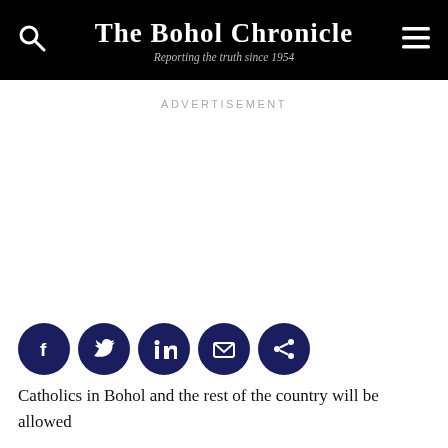The Bohol Chronicle — Reporting the truth since 1954
ADVERTISEMENT
[Figure (infographic): Social share buttons row: Facebook, Twitter, LinkedIn, Email, Share icons in dark navy circles]
Catholics in Bohol and the rest of the country will be allowed